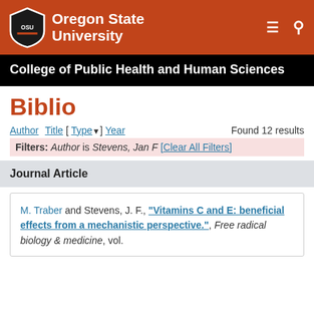Oregon State University
College of Public Health and Human Sciences
Biblio
Author Title [ Type ] Year   Found 12 results
Filters: Author is Stevens, Jan F [Clear All Filters]
Journal Article
M. Traber and Stevens, J. F., "Vitamins C and E: beneficial effects from a mechanistic perspective.", Free radical biology & medicine, vol.